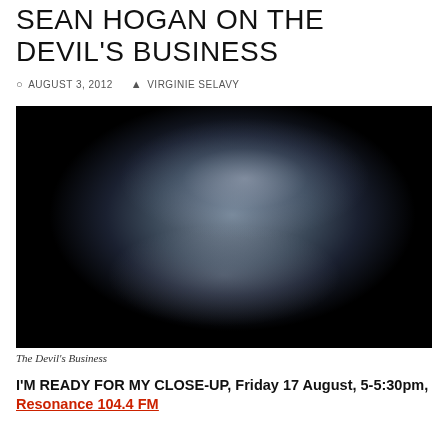SEAN HOGAN ON THE DEVIL'S BUSINESS
AUGUST 3, 2012   VIRGINIE SELAVY
[Figure (photo): Dark close-up portrait of a man's face against a black background, lit with blue-grey tones, looking slightly upward with wide eyes.]
The Devil's Business
I'M READY FOR MY CLOSE-UP, Friday 17 August, 5-5:30pm, Resonance 104.4 FM